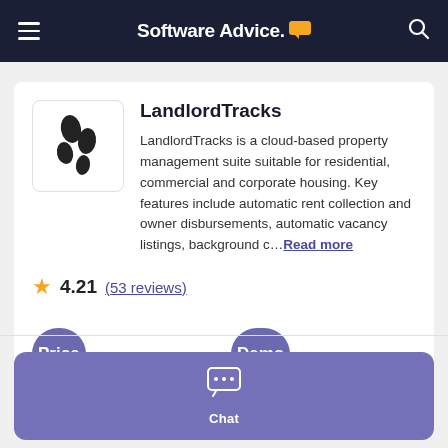Software Advice.
LandlordTracks
LandlordTracks is a cloud-based property management suite suitable for residential, commercial and corporate housing. Key features include automatic rent collection and owner disbursements, automatic vacancy listings, background c... Read more
4.21 (53 reviews)
Price
Demo
Chat